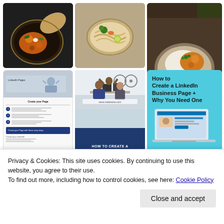[Figure (photo): Pinterest-style grid of food photos and LinkedIn business page content images including a dark bowl with curry, a noodle bowl, a rice and curry bowl, people working in an office, a LinkedIn business page guide document, an office scene with LinkedIn page how-to graphic, and an OptiMonster card about creating a LinkedIn Business Page]
Privacy & Cookies: This site uses cookies. By continuing to use this website, you agree to their use.
To find out more, including how to control cookies, see here: Cookie Policy
Close and accept